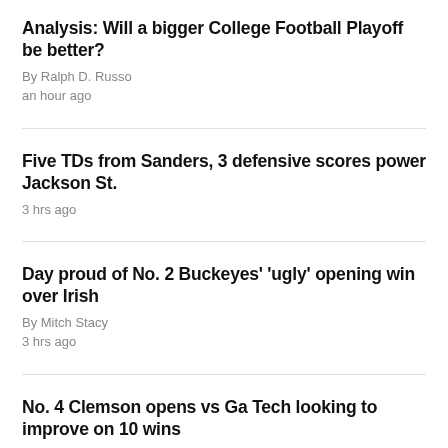Analysis: Will a bigger College Football Playoff be better?
By Ralph D. Russo
an hour ago
Five TDs from Sanders, 3 defensive scores power Jackson St.
3 hrs ago
Day proud of No. 2 Buckeyes' 'ugly' opening win over Irish
By Mitch Stacy
3 hrs ago
No. 4 Clemson opens vs Ga Tech looking to improve on 10 wins
By Paul Newberry
11 hrs ago
QB Meitz leads Stetson to 24-14 win over NAIA Concordia (MI)